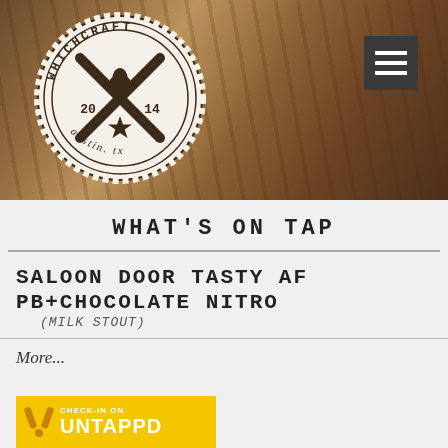[Figure (logo): WhichCraft beer bar logo badge — circular scalloped seal with crossed bones/arrows, hop icon, star, '2014', 'WHICHCRAFT' around top arc, 'austin. tx' around bottom arc, on a blurred wood background with hamburger menu button]
WHAT'S ON TAP
SALOON DOOR TASTY AF PB+CHOCOLATE NITRO
(MILK STOUT)
More...
[Figure (logo): Untappd check-in banner with yellow background, Untappd icon (two crossing tap handles), text 'CHECK-IN ON UNTAPPD']